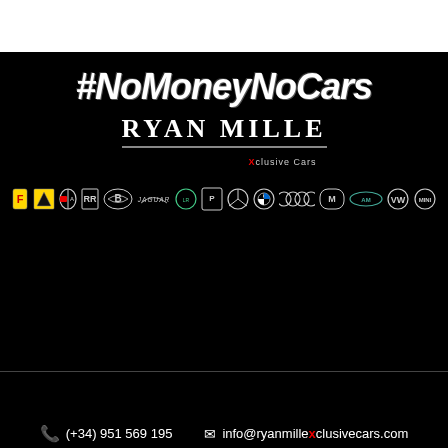#NoMoneyNoCars
[Figure (logo): Ryan Mille Xclusive Cars logo with brand name in serif uppercase and red X, underlined]
[Figure (logo): Row of luxury car brand logos: Ferrari, Lamborghini, Alfa Romeo, Rolls-Royce, Bentley, Jaguar, Land Rover, Porsche, Mercedes, BMW, Audi, Maserati, Aston Martin, VW, Mini]
(+34) 951 569 195   info@ryanmillexclusivecars.com
Polígono Industrial Nueva Campana, Nave 107, Nueva Andalucía 29660, Málaga, Spain
© 2022 - RYAN MILLE XCLUSIVE CARS
Agence Web Marrakech
Web Design by: eve DESIGN